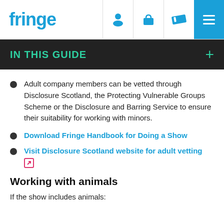fringe
IN THIS GUIDE
Adult company members can be vetted through Disclosure Scotland, the Protecting Vulnerable Groups Scheme or the Disclosure and Barring Service to ensure their suitability for working with minors.
Download Fringe Handbook for Doing a Show
Visit Disclosure Scotland website for adult vetting [external link]
Working with animals
If the show includes animals: